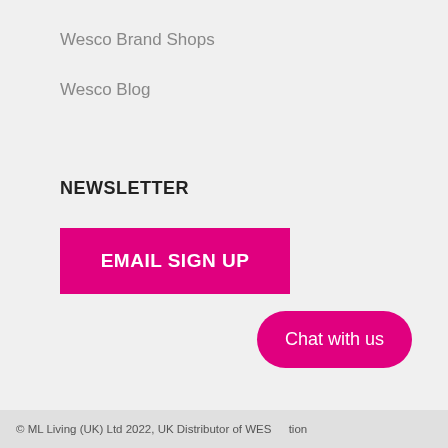Wesco Brand Shops
Wesco Blog
NEWSLETTER
EMAIL SIGN UP
Chat with us
© ML Living (UK) Ltd 2022, UK Distributor of WESCO... tion